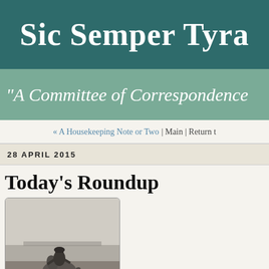Sic Semper Tyra
"A Committee of Correspondence
« A Housekeeping Note or Two | Main | Return t
28 APRIL 2015
Today's Roundup
[Figure (photo): Black and white photograph of a cowboy on horseback viewed from behind, looking out over an open landscape]